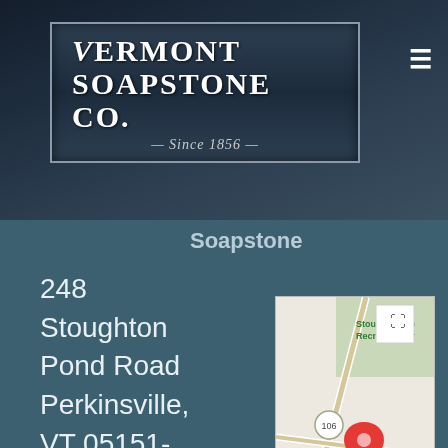[Figure (logo): Vermont Soapstone Co. logo on dark stone-textured background with text 'Since 1856']
Soapstone
248 Stoughton Pond Road Perkinsville, VT 05151-0268 Phone: 802-263-5404 Fax: 802-263-9451
[Figure (map): Google Maps showing location near Stoughton Pond Recreation Area, with a red marker pin on route 106 near Perkinsville VT. Map has zoom controls and expand button.]